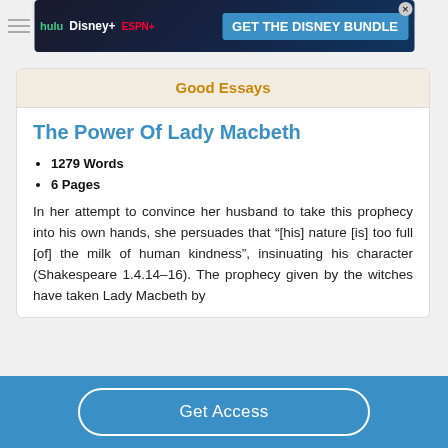[Figure (screenshot): Disney Bundle advertisement banner with Hulu, Disney+, ESPN+ logos and 'GET THE DISNEY BUNDLE' text]
Good Essays
The Power Of Lady Macbeth
1279 Words
6 Pages
In her attempt to convince her husband to take this prophecy into his own hands, she persuades that “[his] nature [is] too full [of] the milk of human kindness”, insinuating his character (Shakespeare 1.4.14–16). The prophecy given by the witches have taken Lady Macbeth by
Get Access